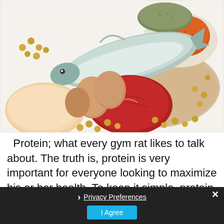[Figure (photo): Assorted high-protein foods arranged together: raw chicken breast, eggs, red meat steak, whole fish (salmon), soybeans/chickpeas scattered around, a bowl with orange lentils and green seeds/lentils on a wooden board.]
Protein; what every gym rat likes to talk about. The truth is, protein is very important for everyone looking to maximize his or her health. To keep it simple, protein is made up of the building blocks of tissue – amino acids. In addition to muscle, protein also makes up hair, skin, nails, hormones,